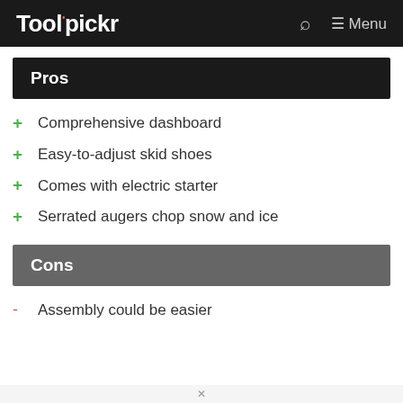Toolpickr  Menu
Pros
Comprehensive dashboard
Easy-to-adjust skid shoes
Comes with electric starter
Serrated augers chop snow and ice
Cons
Assembly could be easier